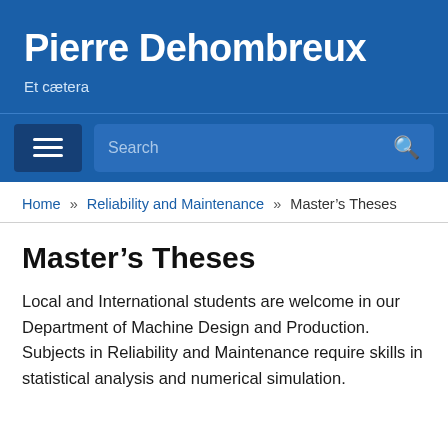Pierre Dehombreux
Et cætera
Home » Reliability and Maintenance » Master's Theses
Master's Theses
Local and International students are welcome in our Department of Machine Design and Production. Subjects in Reliability and Maintenance require skills in statistical analysis and numerical simulation.